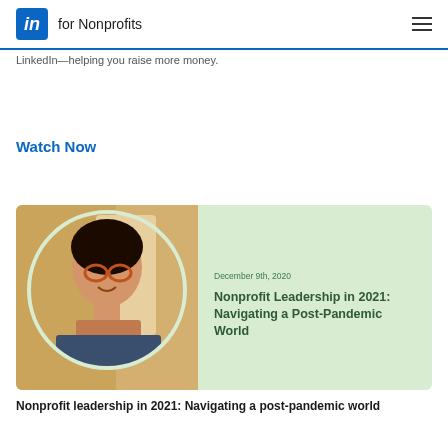in for Nonprofits
LinkedIn—helping you raise more money.
Watch Now
[Figure (photo): Card showing a smiling woman with glasses and a turtleneck, with text 'December 9th, 2020' and title 'Nonprofit Leadership in 2021: Navigating a Post-Pandemic World' on a light green background]
Nonprofit leadership in 2021: Navigating a post-pandemic world